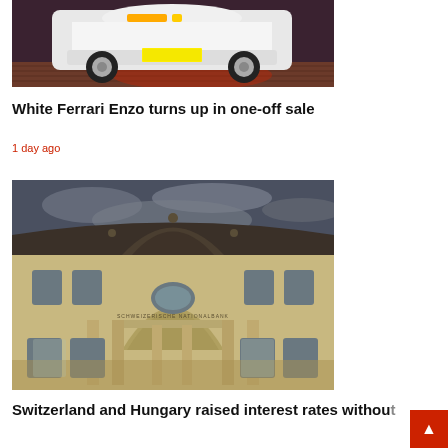[Figure (photo): White Ferrari Enzo supercar rear view, parked on brick surface with red background lighting]
White Ferrari Enzo turns up in one-off sale
1 day ago
[Figure (photo): Grand neoclassical building facade of the Schweizerische Nationalbank (Swiss National Bank) at dusk, with ornate arched entrance and illuminated windows]
Switzerland and Hungary raised interest rates without warning